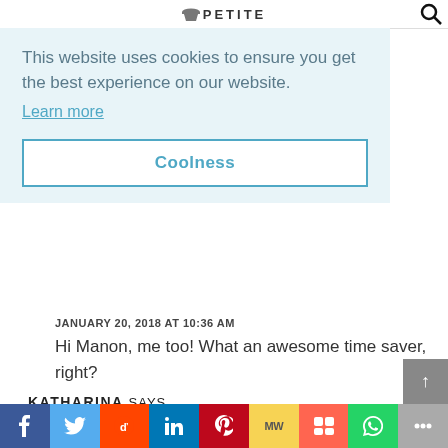PETITE
This website uses cookies to ensure you get the best experience on our website.
Learn more
Coolness
JANUARY 20, 2018 AT 10:36 AM
Hi Manon, me too! What an awesome time saver, right?
KATHARINA SAYS
JANUARY 20, 2018 AT 10:54 AM